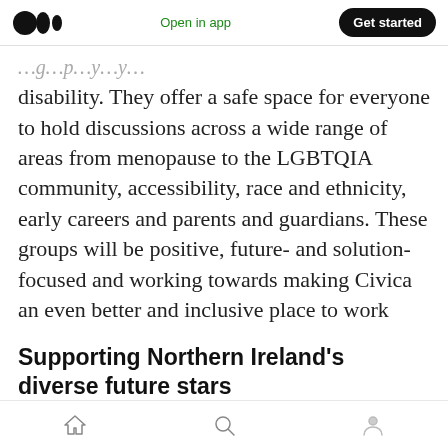Medium logo | Open in app | Get started
disability. They offer a safe space for everyone to hold discussions across a wide range of areas from menopause to the LGBTQIA community, accessibility, race and ethnicity, early careers and parents and guardians. These groups will be positive, future- and solution-focused and working towards making Civica an even better and inclusive place to work
Supporting Northern Ireland's diverse future stars
One of the key things we're passionate about is
Home | Search | Profile